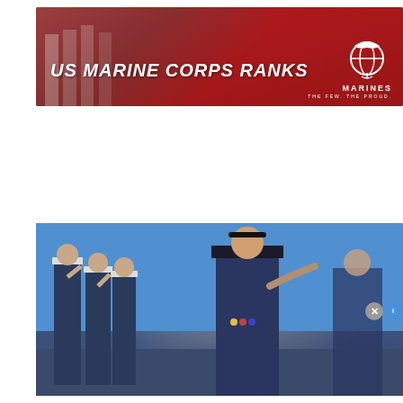[Figure (photo): US Marine Corps Ranks banner with red background, Marines eagle globe and anchor emblem, text 'US MARINE CORPS RANKS', and MARINES THE FEW. THE PROUD. branding]
[Figure (photo): Military officers in dress blue uniforms saluting, with a senior officer prominently in the foreground wearing a peaked cap with general officer insignia]
[Figure (other): Advertisement: #1 Natural Prostate Treatment. Top Urologist: Enlarged Prostate? Do This Immediately! healthreport4u.com. Shows anatomical illustration of prostate and a blue circular arrow button.]